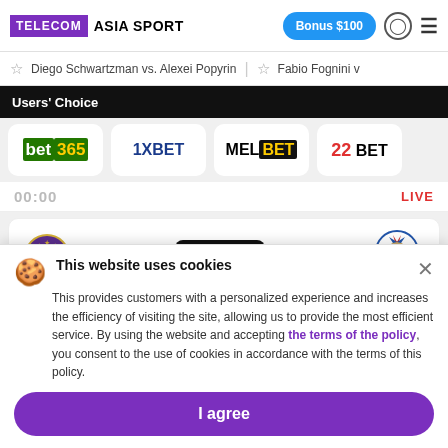TELECOM ASIA SPORT | Bonus $100
☆ Diego Schwartzman vs. Alexei Popyrin  ☆ Fabio Fognini v
Users' Choice
[Figure (logo): Row of bookmaker logos: bet365, 1XBET, MELBET, 22BET]
00:00  LIVE
[Figure (infographic): Match card: Anderlecht vs KAA Gent, odds O: 1,64, date 01 Sep 2022 21:30]
Anderlecht vs Gent Prediction: Both teams are expected to score
This website uses cookies
This provides customers with a personalized experience and increases the efficiency of visiting the site, allowing us to provide the most efficient service. By using the website and accepting the terms of the policy, you consent to the use of cookies in accordance with the terms of this policy.
I agree